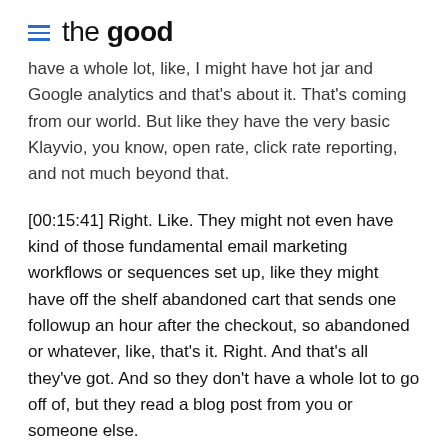the good
have a whole lot, like, I might have hot jar and Google analytics and that's about it. That's coming from our world. But like they have the very basic Klayvio, you know, open rate, click rate reporting, and not much beyond that.
[00:15:41] Right. Like. They might not even have kind of those fundamental email marketing workflows or sequences set up, like they might have off the shelf abandoned cart that sends one followup an hour after the checkout, so abandoned or whatever, like, that's it. Right. And that's all they've got. And so they don't have a whole lot to go off of, but they read a blog post from you or someone else.
[00:15:55]